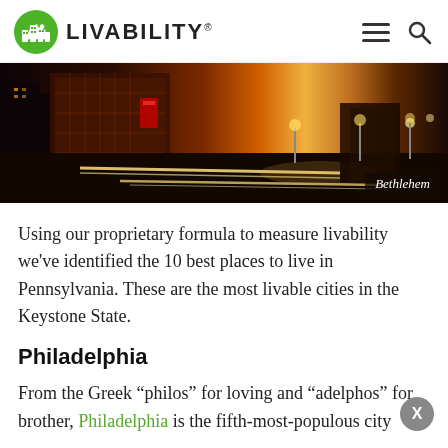LIVABILITY
[Figure (photo): Night cityscape photograph of Bethlehem, Pennsylvania, showing streaks of car lights on a street with illuminated buildings in warm orange and yellow tones. Label 'Bethlehem' in bottom right corner.]
Bethlehem
Using our proprietary formula to measure livability we've identified the 10 best places to live in Pennsylvania. These are the most livable cities in the Keystone State.
Philadelphia
From the Greek “philos” for loving and “adelphos” for brother, Philadelphia is the fifth-most-populous city